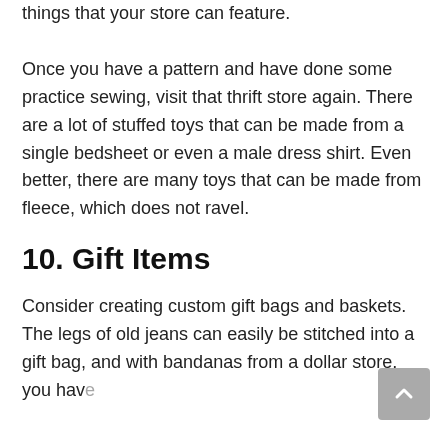things that your store can feature.
Once you have a pattern and have done some practice sewing, visit that thrift store again. There are a lot of stuffed toys that can be made from a single bedsheet or even a male dress shirt. Even better, there are many toys that can be made from fleece, which does not ravel.
10. Gift Items
Consider creating custom gift bags and baskets. The legs of old jeans can easily be stitched into a gift bag, and with bandanas from a dollar store, you have a